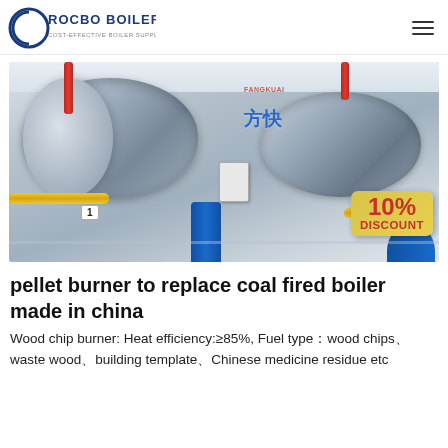ROCBO BOILER — COST-EFFECTIVE BOILER SUPPLIER
[Figure (photo): Industrial boiler room with two large horizontal cylindrical boilers (Fangkuai brand, with Chinese characters 方快), connected by red, yellow, and blue pipes. A '10% DISCOUNT' promotional tag is overlaid on the bottom-right. A label '1' appears on the left boiler area.]
pellet burner to replace coal fired boiler made in china
Wood chip burner: Heat efficiency:≥85%, Fuel type：wood chips、waste wood、building template、Chinese medicine residue etc